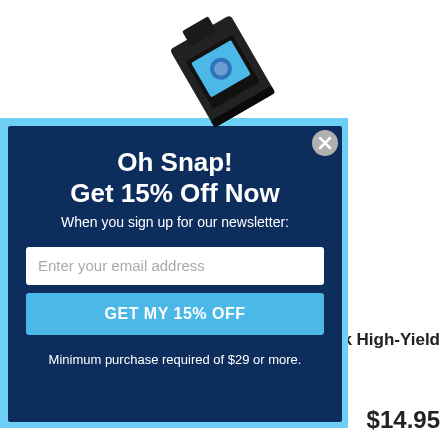[Figure (photo): Black ink cartridge tilted diagonally, partially cropped at top of page, with cyan/blue label visible]
Oh Snap!
Get 15% Off Now
When you sign up for our newsletter:
Enter your email address
GET MY 15% OFF
Minimum purchase required of $29 or more.
ck High-Yield
$14.95